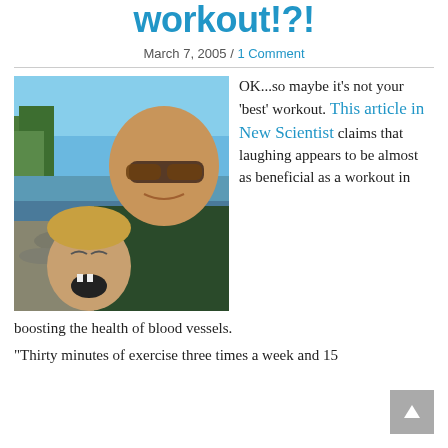workout!?!
March 7, 2005 / 1 Comment
[Figure (photo): Selfie photo of a bald man with sunglasses and a young laughing boy outdoors near a rocky shoreline with trees and blue sky]
OK...so maybe it's not your 'best' workout. This article in New Scientist claims that laughing appears to be almost as beneficial as a workout in boosting the health of blood vessels.
"Thirty minutes of exercise three times a week and 15